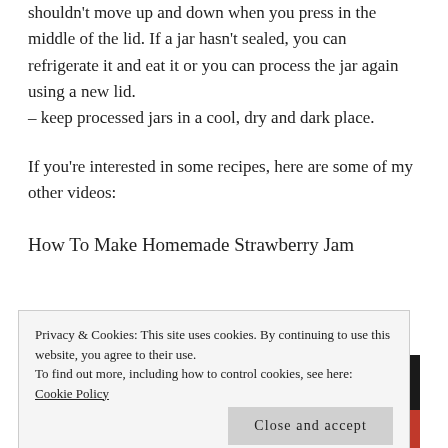shouldn't move up and down when you press in the middle of the lid. If a jar hasn't sealed, you can refrigerate it and eat it or you can process the jar again using a new lid.
– keep processed jars in a cool, dry and dark place.
If you're interested in some recipes, here are some of my other videos:
How To Make Homemade Strawberry Jam
[Figure (photo): Video thumbnail showing a dark image of a pot and below a close-up of strawberry jam]
Privacy & Cookies: This site uses cookies. By continuing to use this website, you agree to their use. To find out more, including how to control cookies, see here: Cookie Policy
Close and accept